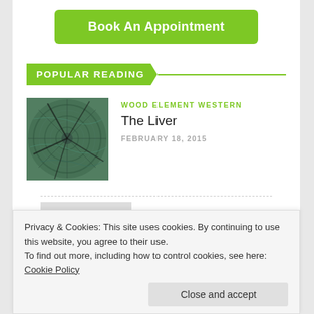Book An Appointment
POPULAR READING
[Figure (photo): Close-up photo of tree rings/wood cross-section with blue-green tones]
WOOD ELEMENT WESTERN
The Liver
FEBRUARY 18, 2015
Privacy & Cookies: This site uses cookies. By continuing to use this website, you agree to their use.
To find out more, including how to control cookies, see here: Cookie Policy
Close and accept